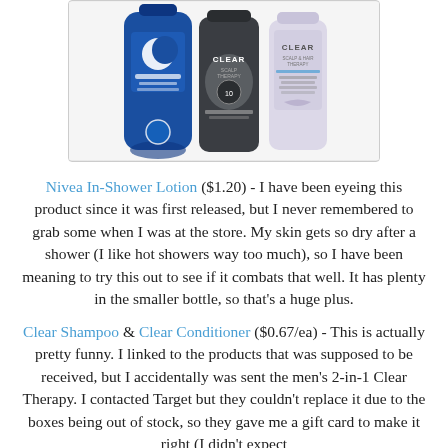[Figure (photo): Photo of three personal care product bottles on a white background: a blue Nivea Body Lotion bottle on the left, a dark grey Clear Scalp Therapy 2-in-1 shampoo/conditioner bottle in the middle, and a light lavender/pink Clear Scalp & Hair Therapy bottle on the right.]
Nivea In-Shower Lotion ($1.20) - I have been eyeing this product since it was first released, but I never remembered to grab some when I was at the store. My skin gets so dry after a shower (I like hot showers way too much), so I have been meaning to try this out to see if it combats that well. It has plenty in the smaller bottle, so that's a huge plus.
Clear Shampoo & Clear Conditioner ($0.67/ea) - This is actually pretty funny. I linked to the products that was supposed to be received, but I accidentally was sent the men's 2-in-1 Clear Therapy. I contacted Target but they couldn't replace it due to the boxes being out of stock, so they gave me a gift card to make it right (I didn't expect